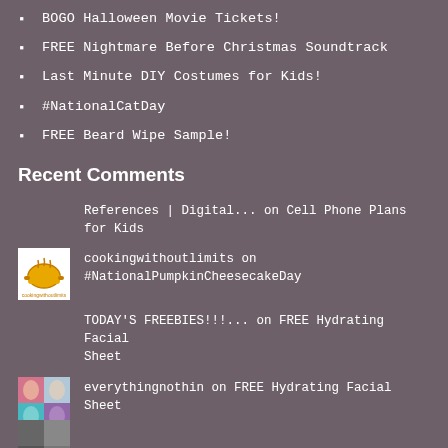BOGO Halloween Movie Tickets!
FREE Nightmare Before Christmas Soundtrack
Last Minute DIY Costumes for Kids!
#NationalCatDay
FREE Beard Wipe Sample!
Recent Comments
References | Digital... on Cell Phone Plans for Kids
cookingwithoutlimits on #NationalPumpkinCheesecakeDay
TODAY'S FREEBIES!!!... on FREE Hydrating Facial Sheet
everythingnothin on FREE Hydrating Facial Sheet